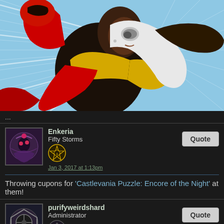[Figure (illustration): Anime character in a fighting pose, wearing a black and yellow costume with red cape/cloth, dark skin, throwing a punch. Blue speed-line background.]
...
Enkeria
Fifty Storms
Jan 3, 2017 at 1:13pm
Throwing cupons for 'Castlevania Puzzle: Encore of the Night' at them!
purifyweirdshard
Administrator